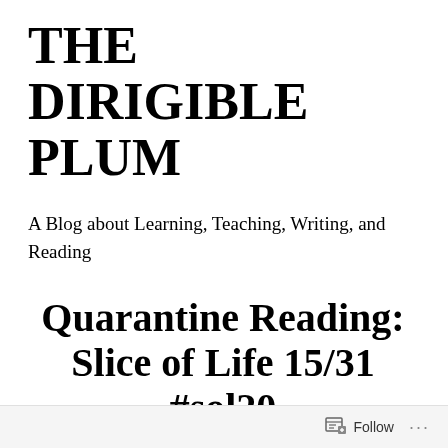THE DIRIGIBLE PLUM
A Blog about Learning, Teaching, Writing, and Reading
Quarantine Reading: Slice of Life 15/31 #sol20
Follow ...